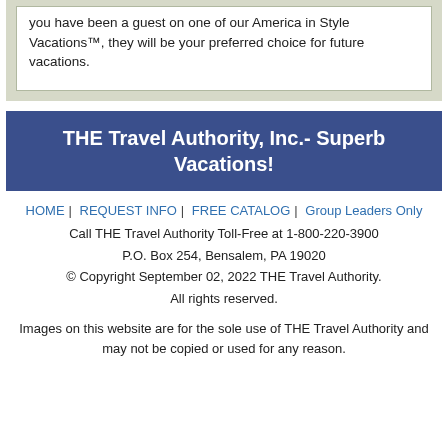you have been a guest on one of our America in Style Vacations™, they will be your preferred choice for future vacations.
THE Travel Authority, Inc.- Superb Vacations!
HOME | REQUEST INFO | FREE CATALOG | Group Leaders Only
Call THE Travel Authority Toll-Free at 1-800-220-3900
P.O. Box 254, Bensalem, PA 19020
© Copyright September 02, 2022 THE Travel Authority. All rights reserved.
Images on this website are for the sole use of THE Travel Authority and may not be copied or used for any reason.